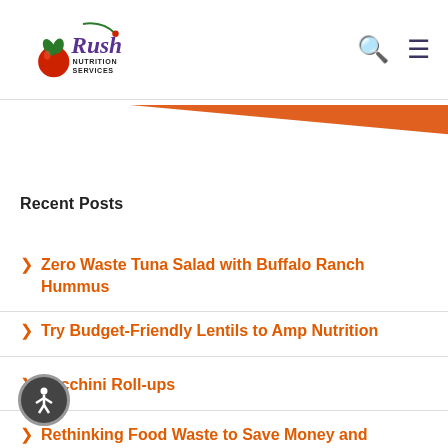Rush Nutrition Services logo and navigation
[Figure (illustration): Orange diagonal triangle/banner decorative element]
Recent Posts
Zero Waste Tuna Salad with Buffalo Ranch Hummus
Try Budget-Friendly Lentils to Amp Nutrition
Zucchini Roll-ups
Rethinking Food Waste to Save Money and